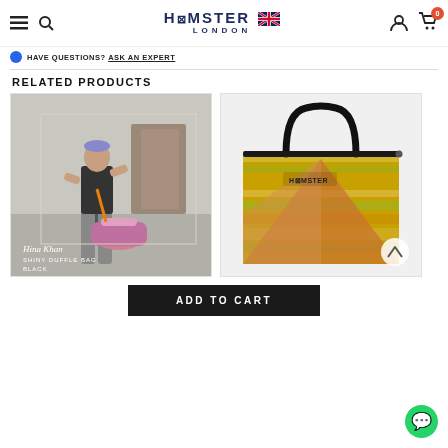HAMSTER LONDON
HAVE QUESTIONS? ASK AN EXPERT
RELATED PRODUCTS
[Figure (photo): Woman holding a shiny pink/purple duffle bag, labeled Hina Khan SHINY DUFFLE BAG BLACK]
[Figure (photo): Shiny gold/green iridescent tote bag with black handles, Hamster London branding]
ADD TO CART